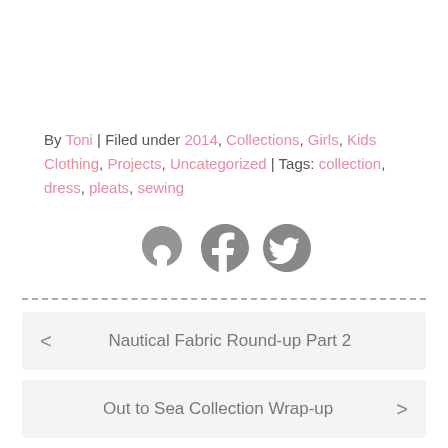By Toni | Filed under 2014, Collections, Girls, Kids Clothing, Projects, Uncategorized | Tags: collection, dress, pleats, sewing
[Figure (other): Three heart-shaped social media icons for Pinterest, Facebook, and Twitter in dark grey]
< Nautical Fabric Round-up Part 2
Out to Sea Collection Wrap-up >